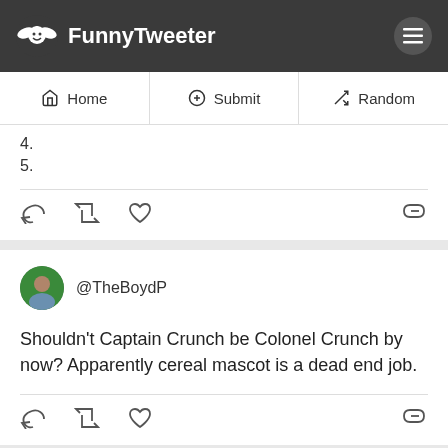FunnyTweeter
Home | Submit | Random
4.
5.
@TheBoydP
Shouldn't Captain Crunch be Colonel Crunch by now? Apparently cereal mascot is a dead end job.
@rachelle_mandik